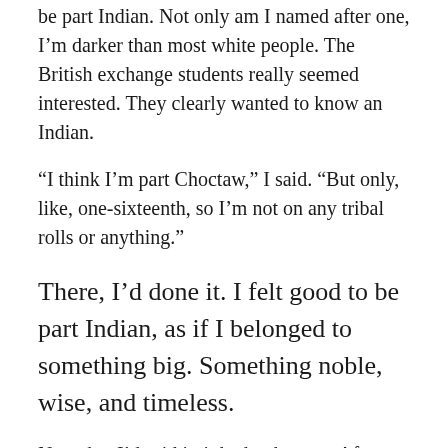be part Indian. Not only am I named after one, I'm darker than most white people. The British exchange students really seemed interested. They clearly wanted to know an Indian.
“I think I’m part Choctaw,” I said. “But only, like, one-sixteenth, so I’m not on any tribal rolls or anything.”
There, I’d done it. I felt good to be part Indian, as if I belonged to something big. Something noble, wise, and timeless.
Now that I’d said it, it had to be true. After all, my mother’s family came from rural eastern Oklahoma, right on the dividing line between the Choctaw and